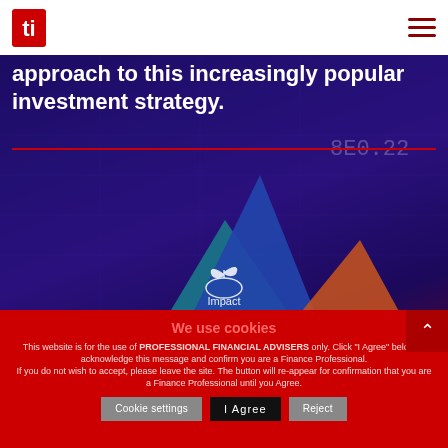[Figure (logo): Red stylized 'ti' letter logo icon in top left]
[Figure (illustration): Hamburger menu icon (three red horizontal lines) in top right]
approach to this increasingly popular investment strategy.
[Figure (illustration): Dark blue/purple tech-themed hero background with pyramid shapes in teal, blue, and orange. A plant/hand icon labeled 'Impact' is centered in the blue pyramid.]
We use cookies
This website is for the use of PROFESSIONAL FINANCIAL ADVISERS only. Click "I Agree" below to acknowledge this message and confirm you are a Finance Professional. If you do not wish to accept, please leave the site. The button will re-appear for confirmation that you are a Finance Professional until you Agree.
Cookie settings    I Agree    Reject